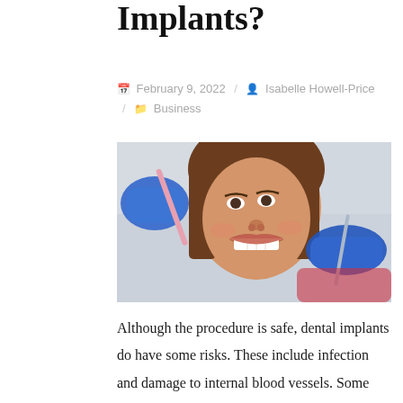Implants?
February 9, 2022 / Isabelle Howell-Price / Business
[Figure (photo): A smiling woman in a dental chair being examined by a dentist wearing blue gloves, holding dental tools near her mouth.]
Although the procedure is safe, dental implants do have some risks. These include infection and damage to internal blood vessels. Some side effects may be temporary, while others can be permanent. This article will discuss the risks and benefits of dental implants. In addition, it